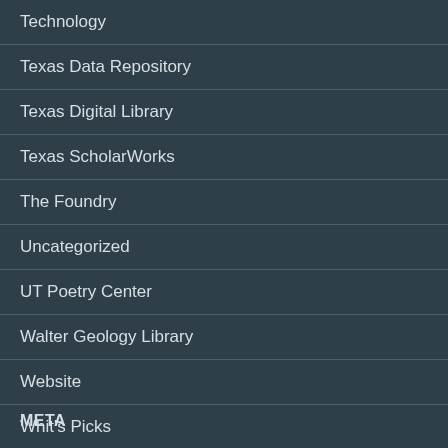Technology
Texas Data Repository
Texas Digital Library
Texas ScholarWorks
The Foundry
Uncategorized
UT Poetry Center
Walter Geology Library
Website
Whit's Picks
META